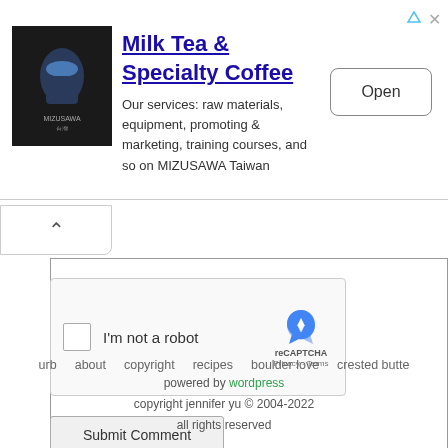[Figure (screenshot): Advertisement banner for Milk Tea & Specialty Coffee by MIZUSAWA Taiwan, showing a dark product image on the left, ad title and description in the center, and an Open button on the right.]
Milk Tea & Specialty Coffee
Our services: raw materials, equipment, promoting & marketing, training courses, and so on MIZUSAWA Taiwan
[Figure (screenshot): reCAPTCHA widget with checkbox labeled 'I'm not a robot' and the reCAPTCHA logo with Privacy - Terms links]
I'm not a robot
Submit Comment
urb   about   copyright   recipes   boulder love   crested butte
powered by wordpress
copyright jennifer yu © 2004-2022
all rights reserved